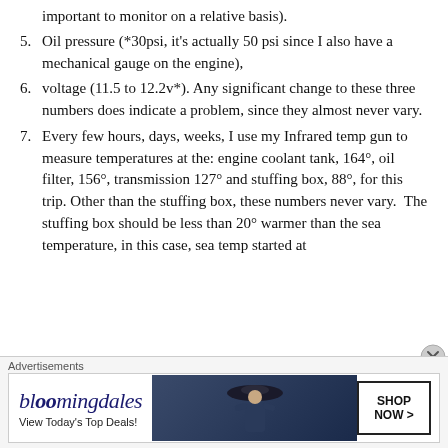important to monitor on a relative basis).
5. Oil pressure (*30psi, it's actually 50 psi since I also have a mechanical gauge on the engine),
6. voltage (11.5 to 12.2v*). Any significant change to these three numbers does indicate a problem, since they almost never vary.
7. Every few hours, days, weeks, I use my Infrared temp gun to measure temperatures at the: engine coolant tank, 164°, oil filter, 156°, transmission 127° and stuffing box, 88°, for this trip. Other than the stuffing box, these numbers never vary.  The stuffing box should be less than 20° warmer than the sea temperature, in this case, sea temp started at
[Figure (other): Bloomingdale's advertisement banner with logo, tagline 'View Today's Top Deals!', woman in hat image, and 'SHOP NOW >' button]